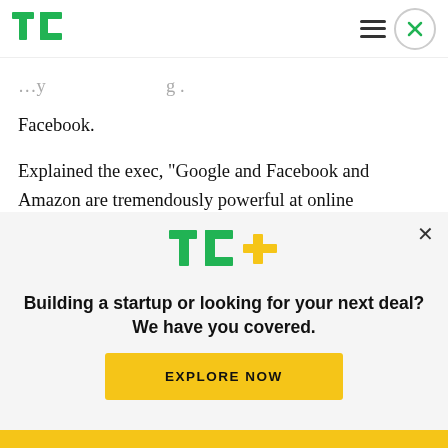TechCrunch
Facebook.
Explained the exec, “Google and Facebook and Amazon are tremendously powerful at online advertising because they’re integrating so much data from so many sources. There’s a business cost to that, but that makes the advertising more
[Figure (logo): TechCrunch TC+ logo in green with yellow plus sign]
Building a startup or looking for your next deal? We have you covered.
EXPLORE NOW